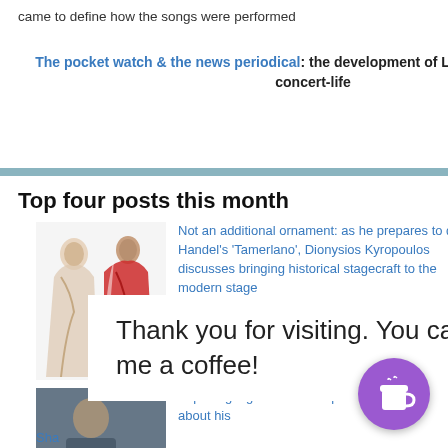came to define how the songs were performed
The pocket watch & the news periodical: the development of London's 17th century concert-life
More features
Top four posts this month
[Figure (illustration): Two costume design illustrations of figures in historical dress, red and white]
Not an additional ornament: as he prepares to direct Handel's 'Tamerlano', Dionysios Kyropoulos discusses bringing historical stagecraft to the modern stage
[Figure (photo): A man in casual clothing standing in a corridor]
Exploring big themes: composer Luke Styles chats about his
Sha
[Figure (photo): Partial image at bottom left, appears to be a dark venue]
Grimebom's Ring adventure comes to a
Thank you for visiting. You can now buy me a coffee!
[Figure (photo): Top right image showing a group scene]
Prom 30: Gavin
Prom 30, Gavin of Wales, Ryan
[Figure (photo): Mosaic grid of faces/portraits - Prom 30: Gavin thumbnail]
Serious Songs:
Jess Dandy (Ph A fine recital fro
[Figure (photo): Portrait of a young woman with dark hair]
It's your move:
During lockdow and mixed the d
[Figure (photo): Book/album cover for It's Your Move]
Black, el Payas Cervantes Thea
So Blac E a) P
[Figure (logo): Purple circle with coffee cup icon - Buy me a coffee button]